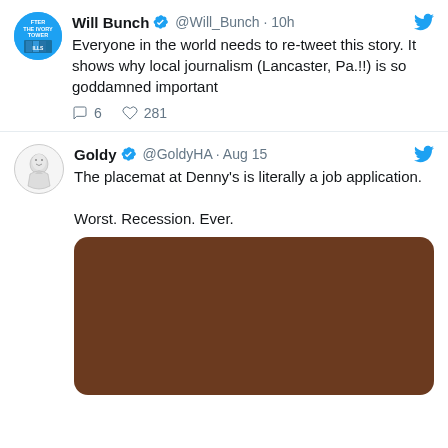[Figure (screenshot): Tweet by Will Bunch (@Will_Bunch) with blue book avatar, verified badge, posted 10h ago. Text: Everyone in the world needs to re-tweet this story. It shows why local journalism (Lancaster, Pa.!!) is so goddamned important. Replies: 6, Likes: 281.]
[Figure (screenshot): Tweet by Goldy (@GoldyHA) posted Aug 15 with illustrated avatar. Text: The placemat at Denny's is literally a job application. Worst. Recession. Ever. Below is an attached image rendered as a brown rectangle.]